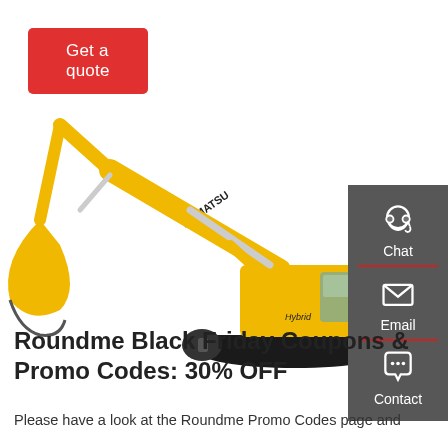Get a quote
[Figure (photo): Yellow Komatsu Hybrid excavator on white background]
Chat
Email
Contact
Roundme Black Friday Coupons & Promo Codes: 30% OFF
Please have a look at the Roundme Promo Codes page and